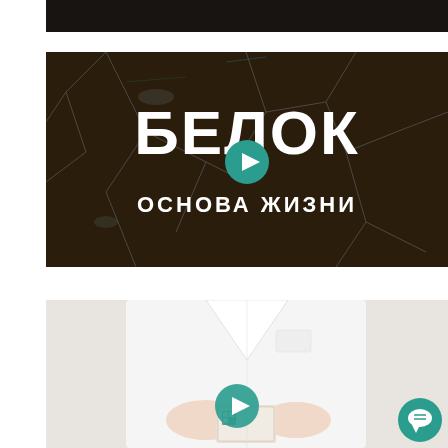[Figure (screenshot): Top cropped video thumbnail showing dark background, partially visible]
[Figure (screenshot): Video thumbnail with cracked glass background, large white Cyrillic text 'БЕЛОК' and below it 'ОСНОВА ЖИЗНИ', with a teal play button in the center]
[Figure (screenshot): Video thumbnail showing a person in a white lab coat holding something small (a card/package), with a teal play button overlay and a teal chat bubble button in the bottom right corner]